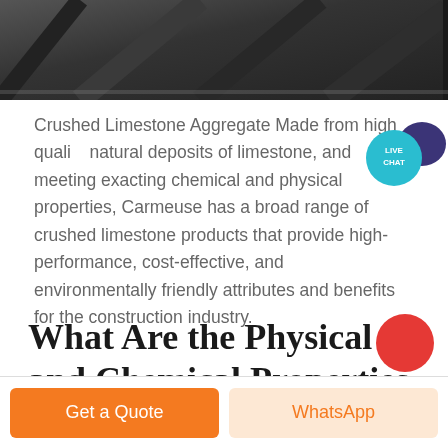[Figure (photo): Dark wood/metal structural beams photograph cropped at top]
Crushed Limestone Aggregate Made from high quality natural deposits of limestone, and meeting exacting chemical and physical properties, Carmeuse has a broad range of crushed limestone products that provide high-performance, cost-effective, and environmentally friendly attributes and benefits for the construction industry.
[Figure (infographic): Live Chat badge: teal circle with LIVE CHAT text and dark blue speech bubble]
What Are the Physical and Chemical Properties of Sand? | ...
[Figure (other): Partial red circle partially visible at bottom right]
Get a Quote
WhatsApp